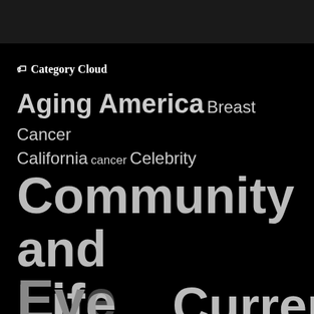Category Cloud
Aging America Breast Cancer California cancer Celebrity Community and Life Creativity Current Events...